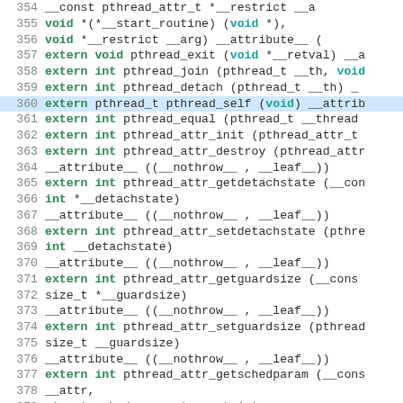[Figure (screenshot): Source code listing showing C header file declarations for pthread functions, lines 354-383, with syntax highlighting: keywords in bold teal/green, line numbers in gray, line 360 highlighted in blue.]